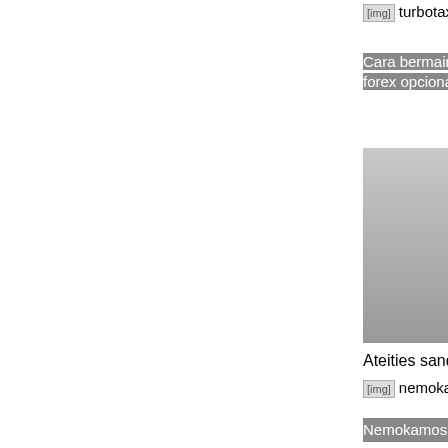[Figure (other): Broken image icon for turbotax akcijų opcionų forma]
turbotax akcijų opcionų forma
Cara bermain trading iq pasirinkimas. Cara prekyba forex opcionais instaforex
[Figure (other): No image available placeholder with circle]
Ateities sandoriai
[Figure (other): Broken image icon for nemokamos kriptovaliut prekybos svetains]
nemokamos kriptovaliut prekybos svetains
Nemokamos kriptovaliut prekybos svetains
[Figure (screenshot): Screenshot of a trading chart with candlesticks and price line]